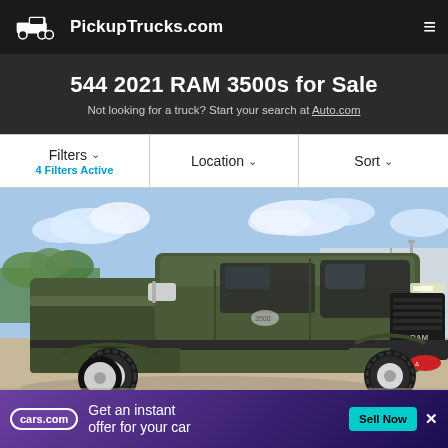PickupTrucks.com
544 2021 RAM 3500s for Sale
Not looking for a truck? Start your search at Auto.com
Filters ∨ 4 Filters Active | Location ∨ | Sort ∨
[Figure (photo): 2021 RAM 3500 pickup truck in olive/dark green color, parked at a dealership lot, front 3/4 view showing dual rear wheels, chrome mirrors, and RAM grille]
[Figure (infographic): Advertisement banner from cars.com: 'Get an instant offer for your car' with a 'Sell Now' button in teal/cyan color]